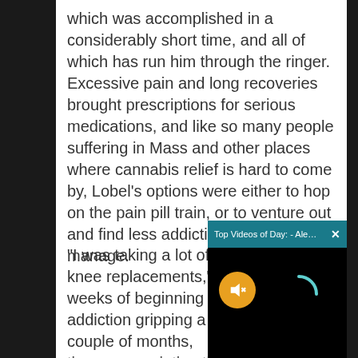which was accomplished in a considerably short time, and all of which has run him through the ringer. Excessive pain and long recoveries brought prescriptions for serious medications, and like so many people suffering in Mass and other places where cannabis relief is hard to come by, Lobel's options were either to hop on the pain pill train, or to venture out and find less addictive ways to manage.
“I was taking a lot of knee replacements,” weeks of beginning of addiction gripping a couple of months, time a prescription th
[Figure (screenshot): Video overlay popup showing 'Top Videos of Day: - Alex Cora on Nick ...' with a dark video player, a muted (orange) button icon on the left, and a loading arc on the right.]